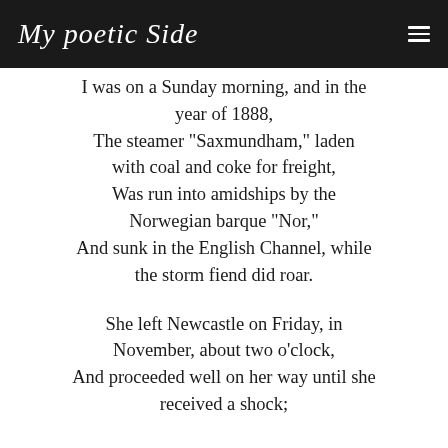My poetic Side
I was on a Sunday morning, and in the year of 1888,
The steamer "Saxmundham," laden with coal and coke for freight,
Was run into amidships by the Norwegian barque "Nor,"
And sunk in the English Channel, while the storm fiend did roar.

She left Newcastle on Friday, in November, about two o'clock,
And proceeded well on her way until she received a shock;